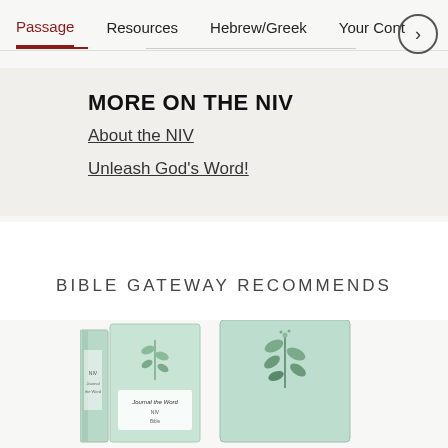Passage   Resources   Hebrew/Greek   Your Cont >
MORE ON THE NIV
About the NIV
Unleash God's Word!
BIBLE GATEWAY RECOMMENDS
[Figure (photo): Two mint green Bible book covers side by side — one showing a spine view and one showing a front cover with botanical leaf illustration]